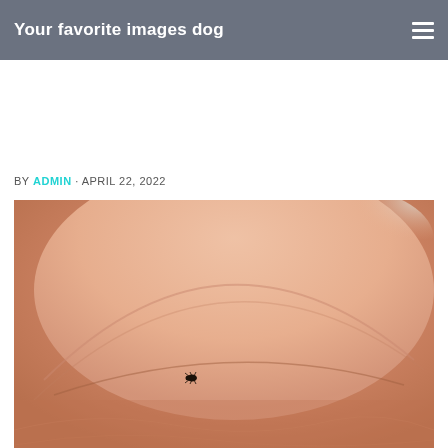Your favorite images dog
BY ADMIN · APRIL 22, 2022
[Figure (photo): Extreme close-up macro photograph of a fingertip/toenail with a tiny insect (tick or flea) visible at the base of the nail, set against pinkish skin background.]